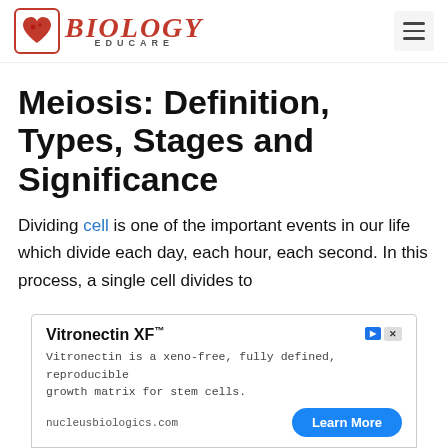[Figure (logo): Biology Educare logo with red heart icon and red italic BIOLOGY text with EDUCARE subtitle]
Meiosis: Definition, Types, Stages and Significance
Dividing cell is one of the important events in our life which divide each day, each hour, each second. In this process, a single cell divides to
[Figure (other): Advertisement for Vitronectin XF: Vitronectin is a xeno-free, fully defined, reproducible growth matrix for stem cells. nucleusbiologics.com - Learn More button]